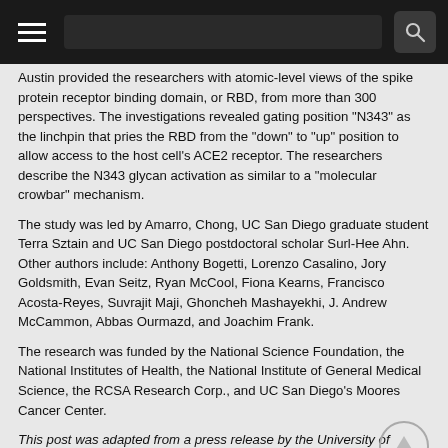[Navigation bar with hamburger menu and search]
Austin provided the researchers with atomic-level views of the spike protein receptor binding domain, or RBD, from more than 300 perspectives. The investigations revealed gating position "N343" as the linchpin that pries the RBD from the "down" to "up" position to allow access to the host cell's ACE2 receptor. The researchers describe the N343 glycan activation as similar to a "molecular crowbar" mechanism.
The study was led by Amarro, Chong, UC San Diego graduate student Terra Sztain and UC San Diego postdoctoral scholar Surl-Hee Ahn. Other authors include: Anthony Bogetti, Lorenzo Casalino, Jory Goldsmith, Evan Seitz, Ryan McCool, Fiona Kearns, Francisco Acosta-Reyes, Suvrajit Maji, Ghoncheh Mashayekhi, J. Andrew McCammon, Abbas Ourmazd, and Joachim Frank.
The research was funded by the National Science Foundation, the National Institutes of Health, the National Institute of General Medical Science, the RCSA Research Corp., and UC San Diego's Moores Cancer Center.
This post was adapted from a press release by the University of California San Diego.
Tags: